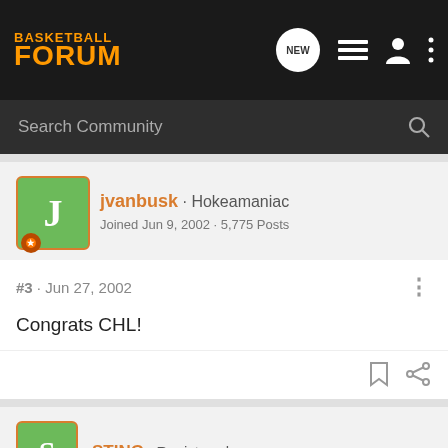BASKETBALL FORUM
Search Community
jvanbusk · Hokeamaniac
Joined Jun 9, 2002 · 5,775 Posts
#3 · Jun 27, 2002
Congrats CHL!
STING · Registered